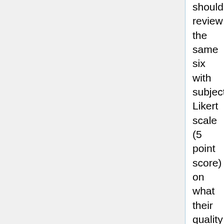should review the same six with subjective Likert scale (5 point score) on what their quality is. Austin signs up for the subjective group, as does Mead and Jean. Do you measure on the first ballot cycle or if they go to a third cycle for example- Austin et al will identify which ballot cycle they will evaluate the reconciliation package from. Also, should be release 1 as compared to RIM R5. Ideally need to use a group of 2.x IG, CDA IG, V3 standard, DAM, EHR FP , the EHR-S FM and a Service (e.g. RLUS).